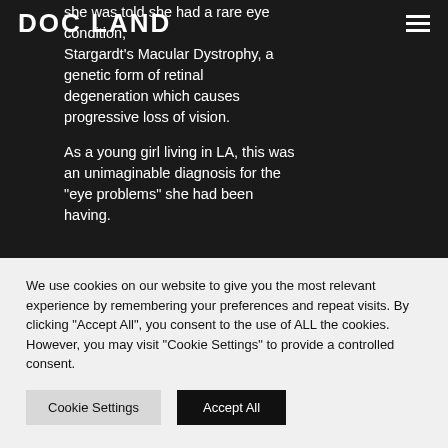DOC LAND
she was told she had a rare eye condition, Stargardt's Macular Dystrophy, a genetic form of retinal degeneration which causes progressive loss of vision.

As a young girl living in LA, this was an unimaginable diagnosis for the "eye problems" she had been having.
We use cookies on our website to give you the most relevant experience by remembering your preferences and repeat visits. By clicking "Accept All", you consent to the use of ALL the cookies. However, you may visit "Cookie Settings" to provide a controlled consent.
Cookie Settings
Accept All